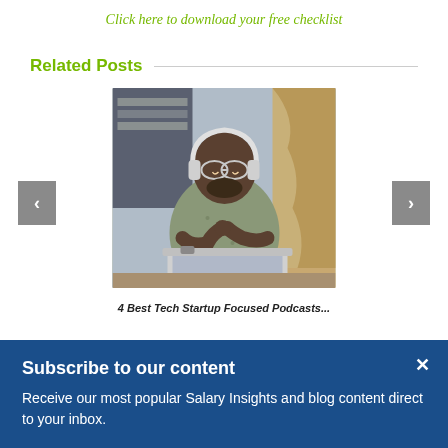Click here to download your free checklist
Related Posts
[Figure (photo): Man wearing headphones and glasses, smiling at a laptop in a home office setting]
4 Best Tech Startup Focused Podcasts...
Subscribe to our content
Receive our most popular Salary Insights and blog content direct to your inbox.